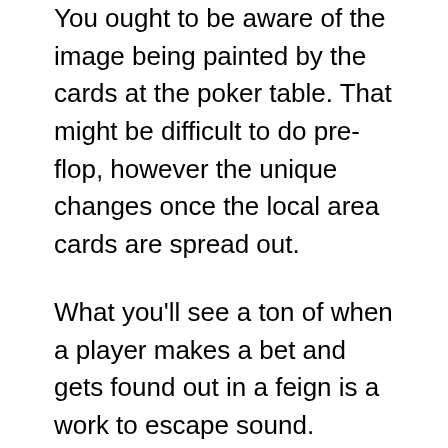You ought to be aware of the image being painted by the cards at the poker table. That might be difficult to do pre-flop, however the unique changes once the local area cards are spread out.
What you'll see a ton of when a player makes a bet and gets found out in a feign is a work to escape sound.
Regularly, you'll see an adversary actually take a look at then call your little to average continuation bet at each round. This is extraordinary for you since it adds cash to the pot and leaves you steering the ship.
In this way, you will have a frail board express 7 8 3 off suit going to the turn. Not much there put